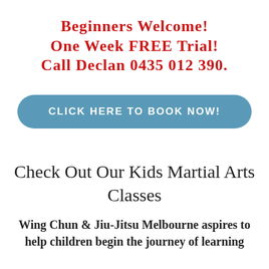Beginners Welcome!
One Week FREE Trial!
Call Declan 0435 012 390.
CLICK HERE TO BOOK NOW!
Check Out Our Kids Martial Arts Classes
Wing Chun & Jiu-Jitsu Melbourne aspires to help children begin the journey of learning